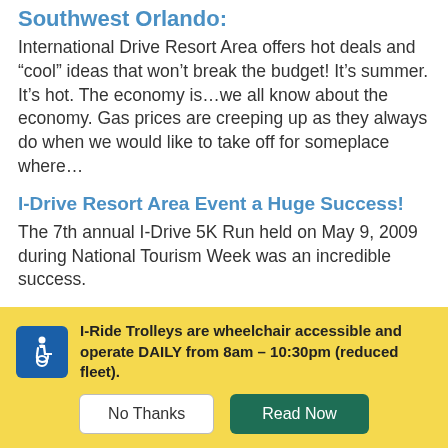Southwest Orlando:
International Drive Resort Area offers hot deals and “cool” ideas that won’t break the budget! It’s summer. It’s hot. The economy is…we all know about the economy. Gas prices are creeping up as they always do when we would like to take off for someplace where…
I-Drive Resort Area Event a Huge Success!
The 7th annual I-Drive 5K Run held on May 9, 2009 during National Tourism Week was an incredible success.
I-Ride Trolleys are wheelchair accessible and operate DAILY from 8am – 10:30pm (reduced fleet).
No Thanks  Read Now